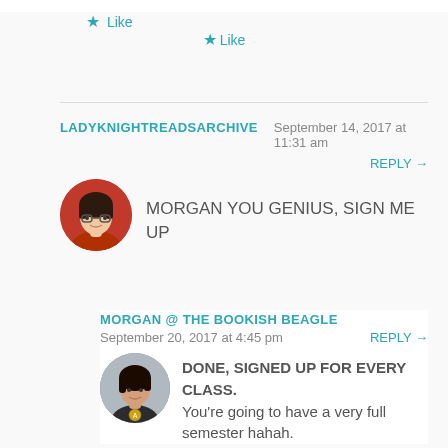★ Like
LADYKNIGHTREADSARCHIVE  September 14, 2017 at 11:31 am
REPLY →
MORGAN YOU GENIUS, SIGN ME UP
★ Like
MORGAN @ THE BOOKISH BEAGLE
September 20, 2017 at 4:45 pm
REPLY →
DONE, SIGNED UP FOR EVERY CLASS. You're going to have a very full semester hahah.